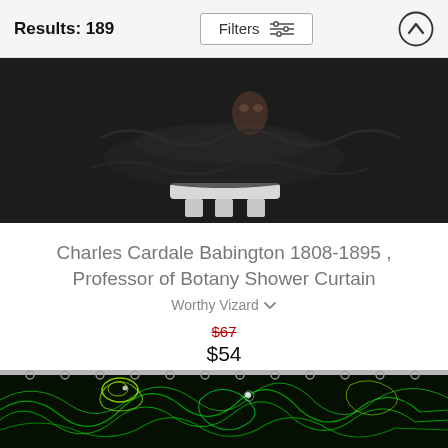Results: 189
[Figure (screenshot): Partial product image — dark/black shower curtain on a white stand, cropped at top]
Charles Cardale Babington 1808-1895 , Professor of Botany Shower Curtain
Worthy Vizard
$67 (original price, crossed out) $54 (sale price)
[Figure (photo): Bottom portion of a shower curtain product image with green/yellow swirling neon topographic pattern on black background, hanging from chrome rings on a rod]